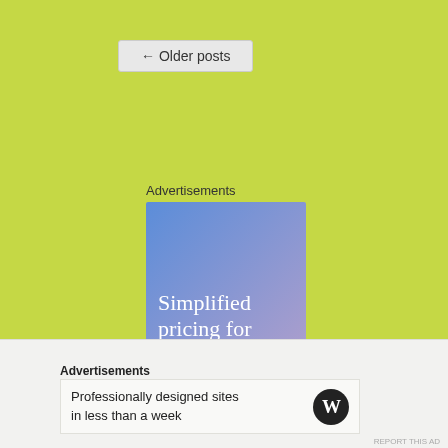← Older posts
Advertisements
[Figure (illustration): Advertisement banner with blue-to-purple gradient background showing text 'Simplified pricing for everything']
Advertisements
[Figure (illustration): WordPress advertisement: 'Professionally designed sites in less than a week' with WordPress logo]